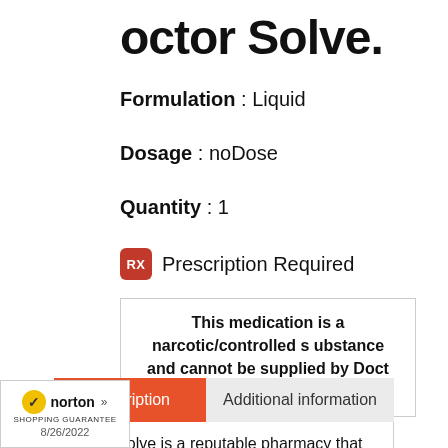octor Solve.
Formulation : Liquid
Dosage : noDose
Quantity : 1
RX Prescription Required
This medication is a narcotic/controlled substance and cannot be supplied by DoctorSolve .com
Description | Additional information
DoctorSolve is a reputable pharmacy that offers ble prices on quality Codiclear ion.